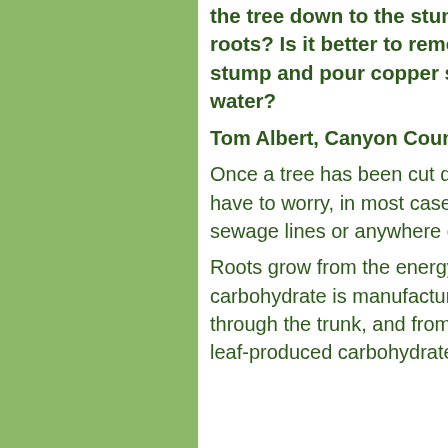the tree down to the stump. What is the best way of killing the roots? Is it better to remove the stump or drill holes in the stump and pour copper sulfate in the holes along with some water?
Tom Albert, Canyon Country
Once a tree has been cut down to the stump, you should no longer have to worry, in most cases, about its roots continuing to grow into sewage lines or anywhere else.
Roots grow from the energy they derive from a carbohydrate. This carbohydrate is manufactured in leaves and sent down to the stems through the trunk, and from there to the roots. Without a source of leaf-produced carbohydrate, roots simply will not grow.